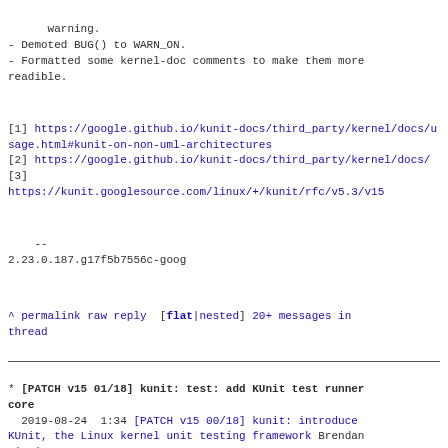warning.
- Demoted BUG() to WARN_ON.
- Formatted some kernel-doc comments to make them more
readible.
[1] https://google.github.io/kunit-docs/third_party/kernel/docs/usage.html#kunit-on-non-uml-architectures
[2] https://google.github.io/kunit-docs/third_party/kernel/docs/
[3]
https://kunit.googlesource.com/linux/+/kunit/rfc/v5.3/v15
--
2.23.0.187.g17f5b7556c-goog
^ permalink raw reply  [flat|nested] 20+ messages in thread
* [PATCH v15 01/18] kunit: test: add KUnit test runner core
  2019-08-24  1:34 [PATCH v15 00/18] kunit: introduce KUnit, the Linux kernel unit testing framework Brendan Higgins
@ 2019-08-24  1:34 ` Brendan Higgins
  2019-08-24  1:34 ` [PATCH v15 02/18] kunit: test: add test resource management API Brendan Higgins
                   ` (17 subsequent siblings)